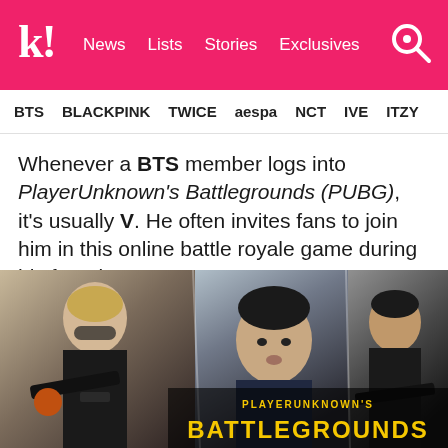k! News Lists Stories Exclusives
BTS BLACKPINK TWICE aespa NCT IVE ITZY
Whenever a BTS member logs into PlayerUnknown's Battlegrounds (PUBG), it's usually V. He often invites fans to join him in this online battle royale game during his free time.
[Figure (photo): Three-panel photo collage showing BTS members with toy/airsoft guns, overlaid with PLAYERUNKNOWN'S BATTLEGROUNDS (PUBG) logo in gold text at the bottom right.]